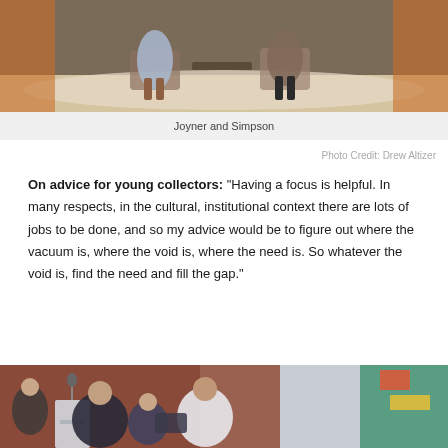[Figure (photo): Two people seated on stage in chairs during a panel discussion or interview event]
Joyner and Simpson
Photo Credit: Drew Altizer
On advice for young collectors: “Having a focus is helpful. In many respects, in the cultural, institutional context there are lots of jobs to be done, and so my advice would be to figure out where the vacuum is, where the void is, where the need is. So whatever the void is, find the need and fill the gap.”
[Figure (photo): People gathered at a podium during an award ceremony or speaking event]